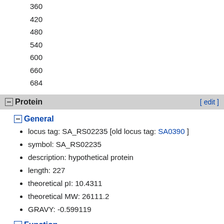360
420
480
540
600
660
684
Protein
General
locus tag: SA_RS02235 [old locus tag: SA0390 ]
symbol: SA_RS02235
description: hypothetical protein
length: 227
theoretical pI: 10.4311
theoretical MW: 26111.2
GRAVY: -0.599119
Function
TIGRFAM:
TheSEED:
PFAM: